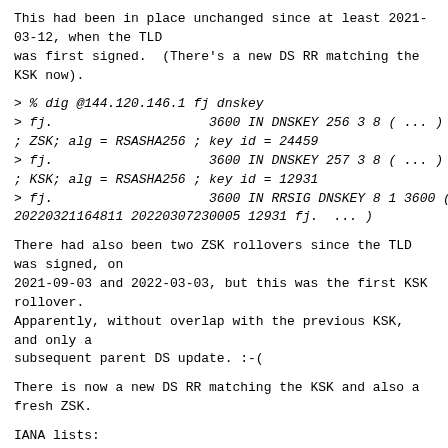This had been in place unchanged since at least 2021-03-12, when the TLD
was first signed.  (There's a new DS RR matching the KSK now).
> % dig @144.120.146.1 fj dnskey
> fj.                    3600 IN DNSKEY 256 3 8 ( ... )
; ZSK; alg = RSASHA256 ; key id = 24459
> fj.                    3600 IN DNSKEY 257 3 8 ( ... )
; KSK; alg = RSASHA256 ; key id = 12931
> fj.                    3600 IN RRSIG DNSKEY 8 1 3600 (
20220321164811 20220307230005 12931 fj.  ... )
There had also been two ZSK rollovers since the TLD was signed, on
2021-09-03 and 2022-03-03, but this was the first KSK rollover.
Apparently, without overlap with the previous KSK, and only a
subsequent parent DS update. :-(
There is now a new DS RR matching the KSK and also a fresh ZSK.
IANA lists:
Technical Contact
Manager Systems & Networks
The University of the South Pacific IT Services
Suv...